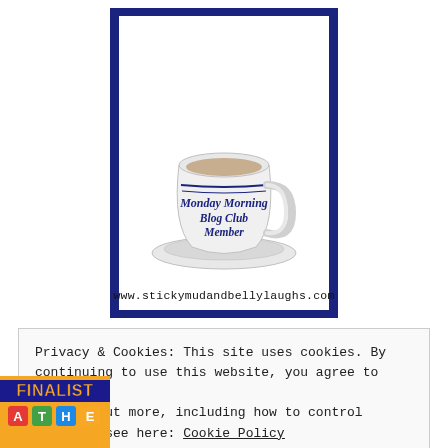[Figure (logo): Monday Morning Blog Club Member badge: navy blue bordered square with white interior containing an illustration of a white teacup and saucer with blue text reading 'Monday Morning Blog Club Member' on the cup, and the URL 'www.stickymudandbellylaughs.com' below the cup inside the badge.]
Privacy & Cookies: This site uses cookies. By continuing to use this website, you agree to their use.
To find out more, including how to control cookies, see here: Cookie Policy
Close and accept
[Figure (logo): Finalist badge partially visible at bottom left corner with orange background and colorful letter blocks.]